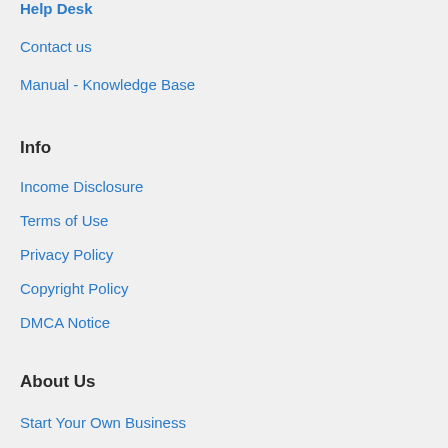Help Desk
Contact us
Manual - Knowledge Base
Info
Income Disclosure
Terms of Use
Privacy Policy
Copyright Policy
DMCA Notice
About Us
Start Your Own Business